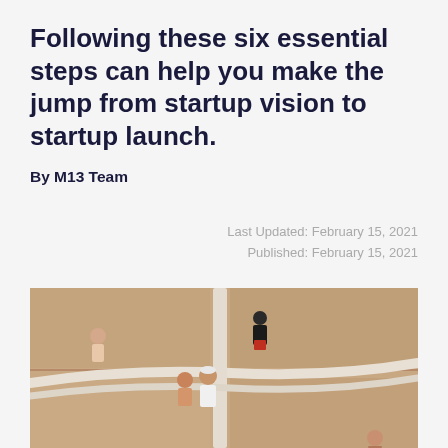Following these six essential steps can help you make the jump from startup vision to startup launch.
By M13 Team
Last Updated: February 15, 2021
Published: February 15, 2021
[Figure (photo): An aerial/overhead view of people walking through a modern architectural space with curved white structural elements against sandy/beige wood panels.]